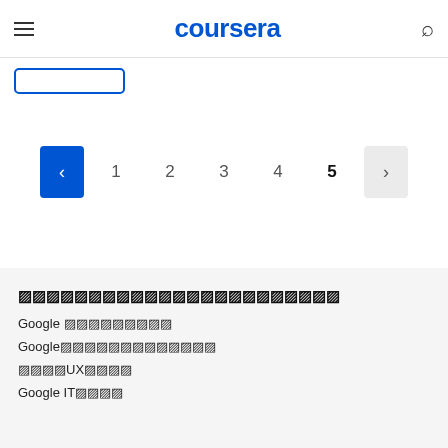coursera
[Figure (screenshot): Enrollment button (outline style, blue border)]
[Figure (infographic): Pagination controls: left arrow (blue active), page numbers 1 2 3 4 5 (5 is bold), right arrow (grey)]
Google によるプログラム
Google プロフェッショナル
Googleプロジェクトマネジメント
GoogleのUXデザイン
Google ITサポート